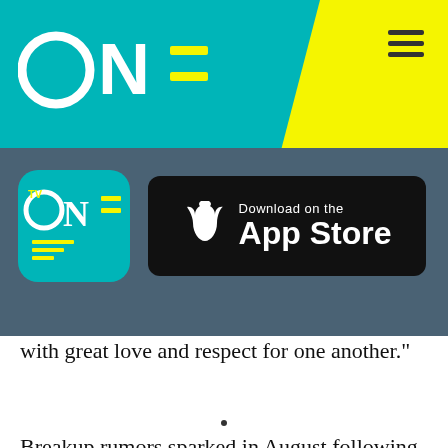ONE (TV One) - Header with logo and navigation menu
[Figure (screenshot): TV One app icon (teal/cyan colored icon with ONE TV logo and menu lines) next to a Download on the App Store button on dark slate background]
with great love and respect for one another."
Breakup rumors sparked in August following reports of Walker having an affair with an Instagram model while the 39-year-old was pregnant with their second child. In a since-deleted Instagram post, he wrote
[Figure (screenshot): Black video ad overlay at bottom of page with small play/arrow icon]